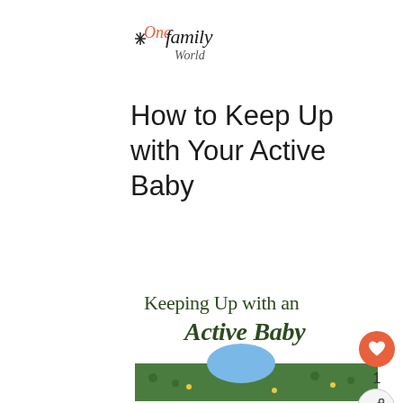[Figure (logo): OneFamilyWorld script logo in black and coral/orange handwritten style]
How to Keep Up with Your Active Baby
[Figure (illustration): Image with dark green handwritten-style text 'Keeping Up with an Active Baby' over a white background, with a partial photo of a baby in grass at the bottom]